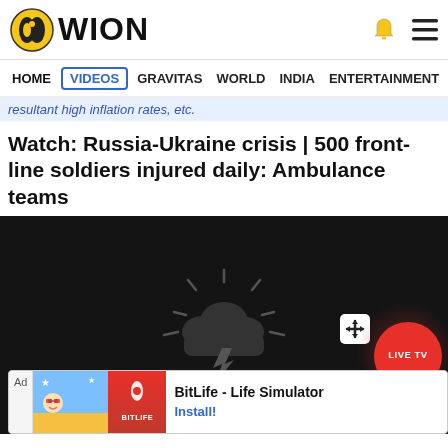WION
HOME | VIDEOS | GRAVITAS | WORLD | INDIA | ENTERTAINMENT | SPORTS
resultant high inflation rates, etc.
Watch: Russia-Ukraine crisis | 500 front-line soldiers injured daily: Ambulance teams
[Figure (screenshot): Video player with dark background showing a cloud/thunderstorm icon, LIVE TV red circle button, and a move/position crosshair button]
Ad — BitLife - Life Simulator — Install!